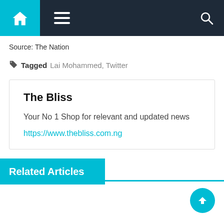Navigation bar with home, menu, and search icons
Source: The Nation
Tagged Lai Mohammed, Twitter
The Bliss
Your No 1 Shop for relevant and updated news
https://www.thebliss.com.ng
Related Articles